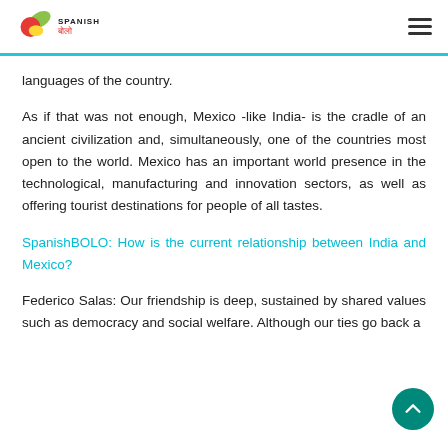SPANISH BOLO
languages of the country.
As if that was not enough, Mexico -like India- is the cradle of an ancient civilization and, simultaneously, one of the countries most open to the world. Mexico has an important world presence in the technological, manufacturing and innovation sectors, as well as offering tourist destinations for people of all tastes.
SpanishBOLO: How is the current relationship between India and Mexico?
Federico Salas: Our friendship is deep, sustained by shared values such as democracy and social welfare. Although our ties go back a